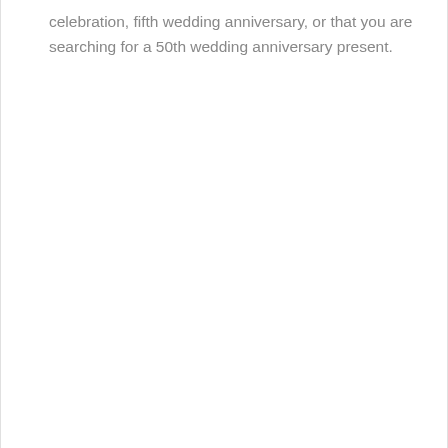celebration, fifth wedding anniversary, or that you are searching for a 50th wedding anniversary present.